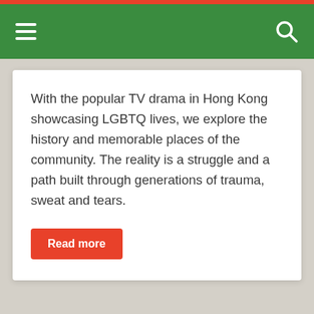Navigation bar with hamburger menu and search icon
With the popular TV drama in Hong Kong showcasing LGBTQ lives, we explore the history and memorable places of the community. The reality is a struggle and a path built through generations of trauma, sweat and tears.
Read more